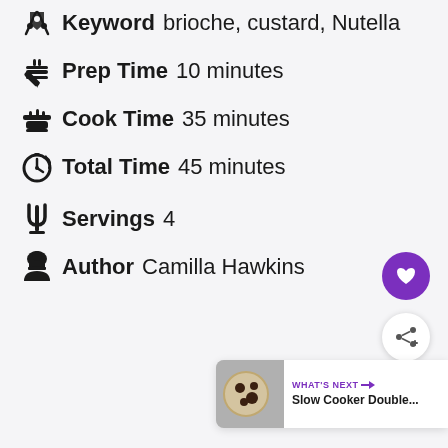Keyword brioche, custard, Nutella
Prep Time 10 minutes
Cook Time 35 minutes
Total Time 45 minutes
Servings 4
Author Camilla Hawkins
[Figure (other): Floating heart favourite button (purple circle with heart icon)]
[Figure (other): Floating share button (white circle with share icon)]
[Figure (other): What's Next bar showing Slow Cooker Double... with thumbnail]